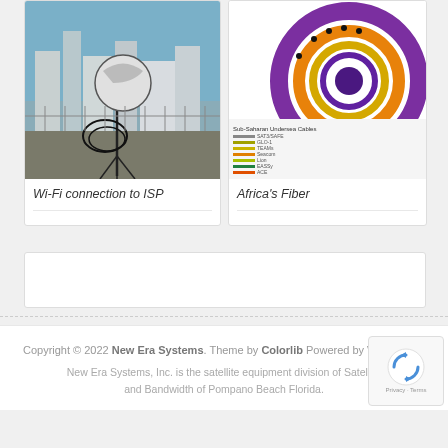[Figure (photo): A Wi-Fi directional antenna mounted on a tripod on a rooftop, with city skyline in the background]
Wi-Fi connection to ISP
[Figure (infographic): Africa's Fiber network diagram showing sub-Saharan undersea cables with circular chart and legend]
Africa's Fiber
Copyright © 2022 New Era Systems. Theme by Colorlib Powered by WordPress
New Era Systems, Inc. is the satellite equipment division of Satellite and Bandwidth of Pompano Beach Florida.